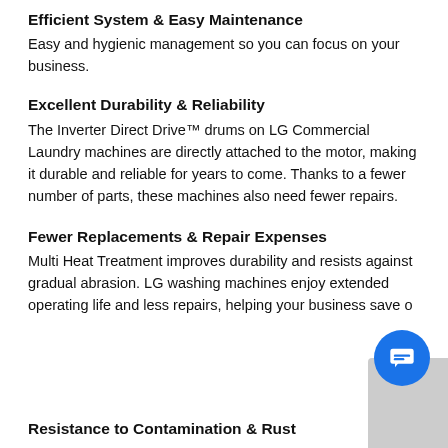Efficient System & Easy Maintenance
Easy and hygienic management so you can focus on your business.
Excellent Durability & Reliability
The Inverter Direct Drive™ drums on LG Commercial Laundry machines are directly attached to the motor, making it durable and reliable for years to come. Thanks to a fewer number of parts, these machines also need fewer repairs.
Fewer Replacements & Repair Expenses
Multi Heat Treatment improves durability and resists against gradual abrasion. LG washing machines enjoy extended operating life and less repairs, helping your business save o…
Resistance to Contamination & Rust